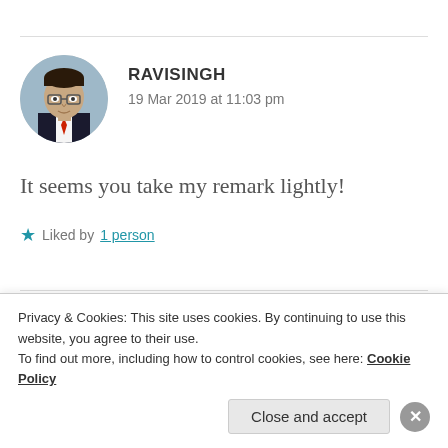RAVISINGH
19 Mar 2019 at 11:03 pm
It seems you take my remark lightly!
Liked by 1 person
[Figure (photo): Partially visible avatar of second commenter with name ZEALOUS HOMO SAPIENS partially visible]
Privacy & Cookies: This site uses cookies. By continuing to use this website, you agree to their use.
To find out more, including how to control cookies, see here: Cookie Policy
Close and accept